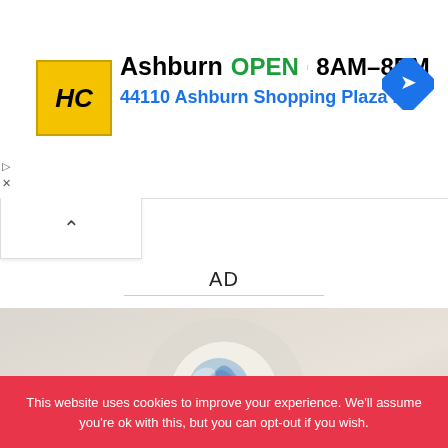[Figure (screenshot): Ad banner for HC store in Ashburn showing logo, OPEN status, hours 8AM-8PM, and address 44110 Ashburn Shopping Plaza 1., with navigation arrow icon]
AD
[Figure (photo): Close-up photo of a colorful glass orb/paperweight with blue floral design against a light beige background]
This website uses cookies to improve your experience. We'll assume you're ok with this, but you can opt-out if you wish.
[Figure (screenshot): Social sharing bar with Twitter, Facebook, Email, WhatsApp, SMS, and copy link buttons]